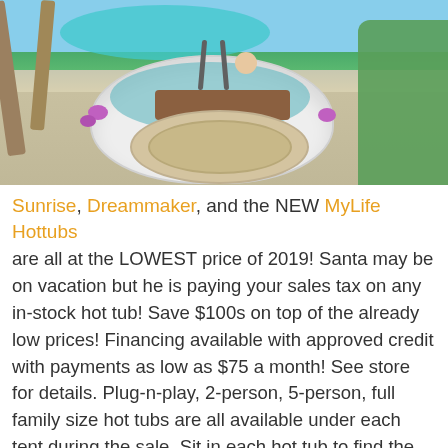[Figure (photo): Photo of a white hot tub with circular steps, surrounded by a poolside setting with lush greenery, palm trees, and purple flowers. A person is sitting in the hot tub.]
Sunrise, Dreammaker, and the NEW MyLife Hottubs are all at the LOWEST price of 2019! Santa may be on vacation but he is paying your sales tax on any in-stock hot tub! Save $100s on top of the already low prices! Financing available with approved credit with payments as low as $75 a month! See store for details. Plug-n-play, 2-person, 5-person, full family size hot tubs are all available under each tent during the sale. Sit in each hot tub to find the perfect one at EVERY Valley Pool & Spa. Along with almost every model at